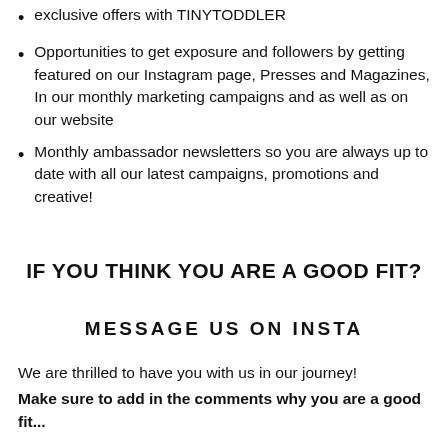exclusive offers with TINYTODDLER
Opportunities to get exposure and followers by getting featured on our Instagram page, Presses and Magazines, In our monthly marketing campaigns and as well as on our website
Monthly ambassador newsletters so you are always up to date with all our latest campaigns, promotions and creative!
IF YOU THINK YOU ARE A GOOD FIT?
MESSAGE US ON INSTA
We are thrilled to have you with us in our journey!
Make sure to add in the comments why you are a good fit...